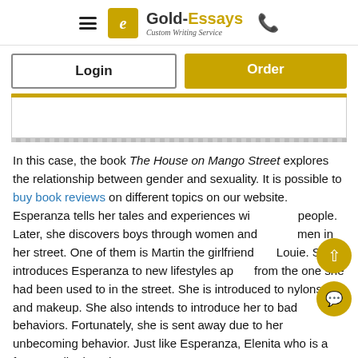Gold-Essays Custom Writing Service
Login
Order
In this case, the book The House on Mango Street explores the relationship between gender and sexuality. It is possible to buy book reviews on different topics on our website. Esperanza tells her tales and experiences with people. Later, she discovers boys through women and men in her street. One of them is Martin the girlfriend of Louie. She introduces Esperanza to new lifestyles apart from the one she had been used to in the street. She is introduced to nylons and makeup. She also intends to introduce her to bad behaviors. Fortunately, she is sent away due to her unbecoming behavior. Just like Esperanza, Elenita who is a fortune teller has the same